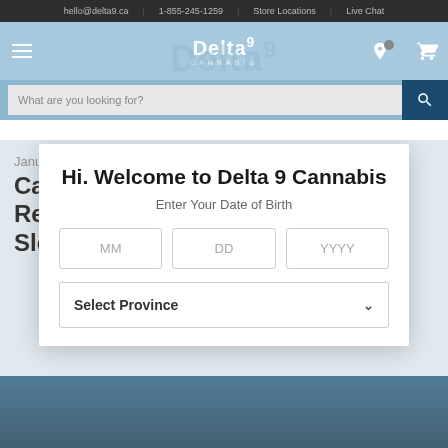hello@delta9.ca | 1-855-245-1259 | Store Locations | Live Chat
[Figure (screenshot): Delta 9 Cannabis website navigation bar with logo and search bar]
January 25, 2022
Can Cannabis Really Help You Sleep?
[Figure (infographic): Age verification modal overlay: Hi. Welcome to Delta 9 Cannabis — Enter Your Date of Birth with MM, DD, YYYY fields and Select Province dropdown]